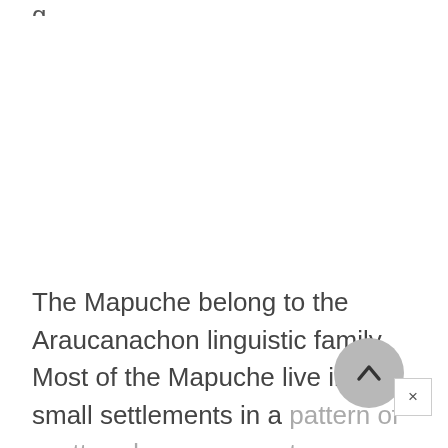The Mapuche belong to the Araucanachon linguistic family. Most of the Mapuche live in small settlements in a pattern of scattered encampments.
[Figure (other): Scroll-to-top circular button with chevron/caret up arrow icon, gray background]